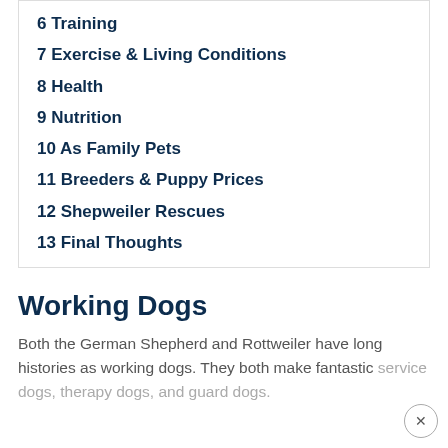6 Training
7 Exercise & Living Conditions
8 Health
9 Nutrition
10 As Family Pets
11 Breeders & Puppy Prices
12 Shepweiler Rescues
13 Final Thoughts
Working Dogs
Both the German Shepherd and Rottweiler have long histories as working dogs. They both make fantastic service dogs, therapy dogs, and guard dogs.